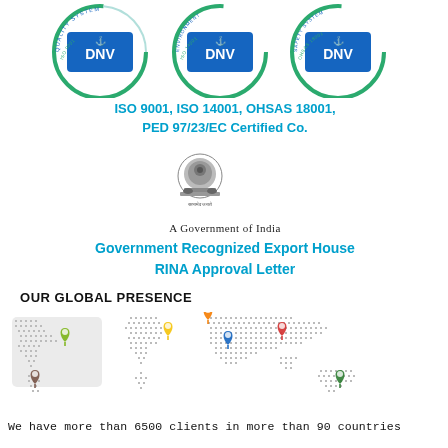[Figure (logo): Three DNV certification circular badges: ISO 9001 Quality System, ISO 14001 Environment, OHSAS 18001 Safety System]
ISO 9001, ISO 14001, OHSAS 18001, PED 97/23/EC Certified Co.
[Figure (logo): Government of India emblem (Ashoka Chakra lion capital) with Devanagari text]
A Government of India
Government Recognized Export House
RINA Approval Letter
OUR GLOBAL PRESENCE
[Figure (map): World map with colored location pin markers on multiple continents: green (North America), yellow (Europe), orange (Middle East/Central Asia), blue (South Asia/India), red (East Asia), brown (South America), green (Australia/Oceania)]
We have more than 6500 clients in more than 90 countries